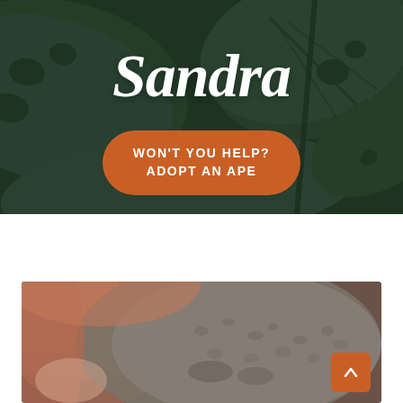[Figure (photo): Dark green tropical monstera leaf background with overlaid title text 'Sandra' and an orange rounded button reading 'WON'T YOU HELP? ADOPT AN APE']
Sandra
WON'T YOU HELP? ADOPT AN APE
[Figure (photo): Close-up photograph of an orangutan's face, showing reddish-brown hair and grey facial skin, partially cropped]